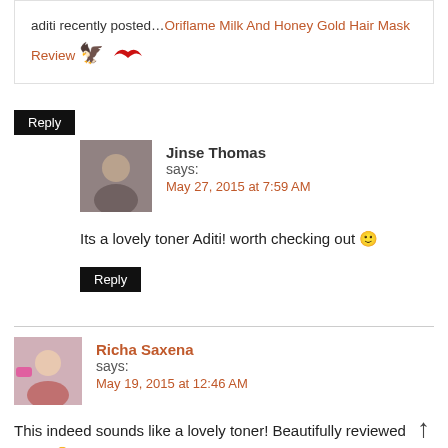aditi recently posted…Oriflame Milk And Honey Gold Hair Mask Review 🦅
Reply
Jinse Thomas says: May 27, 2015 at 7:59 AM
Its a lovely toner Aditi! worth checking out 🙂
Reply
Richa Saxena says: May 19, 2015 at 12:46 AM
This indeed sounds like a lovely toner! Beautifully reviewed Babe 🙂 Would love to give it a try!